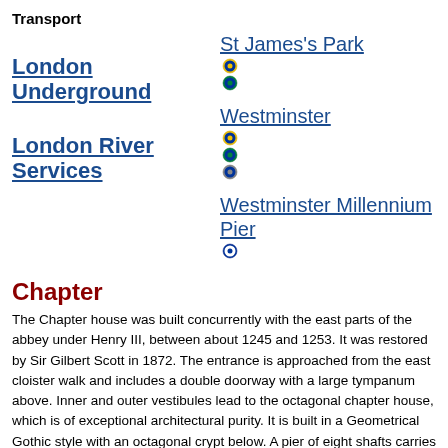Transport
London Underground
St James's Park
Westminster
London River Services
Westminster Millennium Pier
Chapter
The Chapter house was built concurrently with the east parts of the abbey under Henry III, between about 1245 and 1253. It was restored by Sir Gilbert Scott in 1872. The entrance is approached from the east cloister walk and includes a double doorway with a large tympanum above. Inner and outer vestibules lead to the octagonal chapter house, which is of exceptional architectural purity. It is built in a Geometrical Gothic style with an octagonal crypt below. A pier of eight shafts carries the vaulted ceiling. To the sides are blind arcading, remains of 14th century paintings and numerous stone benches above which are innovatory large 4-light quatre-foiled windows. These are virtually